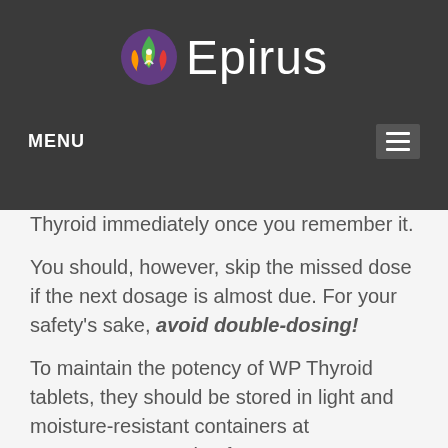[Figure (logo): Epirus logo with colorful leaf/flame icon and white text 'Epirus']
MENU
Thyroid immediately once you remember it.
You should, however, skip the missed dose if the next dosage is almost due. For your safety's sake, avoid double-dosing!
To maintain the potency of WP Thyroid tablets, they should be stored in light and moisture-resistant containers at temperatures ranging from 59 to 86 Fahrenheit or 15 to 30 Celsius.